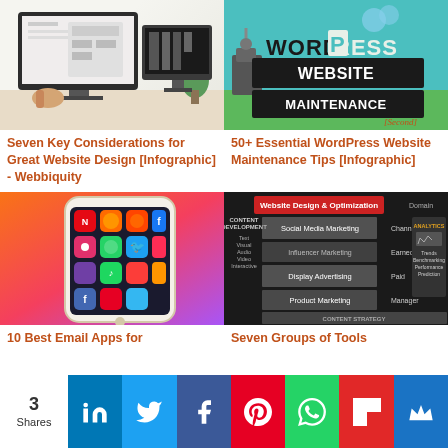[Figure (photo): Photo of two iMac monitors on a desk showing website design mockups]
Seven Key Considerations for Great Website Design [Infographic] - Webbiquity
[Figure (infographic): WordPress Website Maintenance infographic thumbnail with teal/green background and bold text]
50+ Essential WordPress Website Maintenance Tips [Infographic]
[Figure (photo): Photo of a smartphone showing colorful app icons including Netflix, Facebook, Instagram]
[Figure (infographic): Digital marketing diagram showing Website Design and Optimization, Social Media, Content Development, Analytics sections]
10 Best Email Apps for
Seven Groups of Tools
3 Shares | LinkedIn | Twitter | Facebook | Pinterest | WhatsApp | Flipboard | Crown